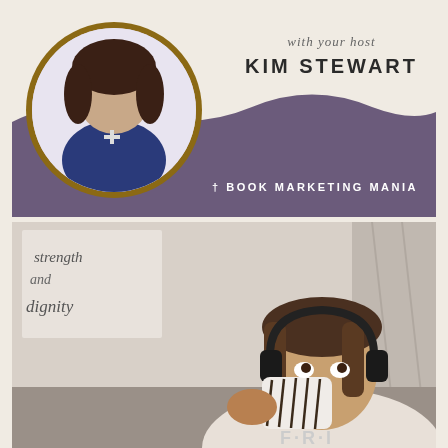[Figure (photo): Podcast promotional graphic showing host Kim Stewart in a circular portrait with a gold border, on a cream/purple background with wavy divider]
with your host
KIM STEWART
† BOOK MARKETING MANIA
[Figure (photo): Woman wearing headphones drinking from a Starbucks cup, with a 'strength and dignity' sign in the background, wearing a shirt that says FRI]